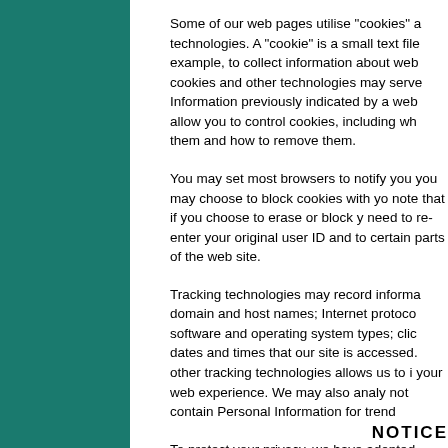Some of our web pages utilise "cookies" a technologies. A "cookie" is a small text file example, to collect information about web cookies and other technologies may serve Information previously indicated by a web allow you to control cookies, including wh them and how to remove them.
You may set most browsers to notify you you may choose to block cookies with yo note that if you choose to erase or block y need to re-enter your original user ID and to certain parts of the web site.
Tracking technologies may record informa domain and host names; Internet protoco software and operating system types; clic dates and times that our site is accessed. other tracking technologies allows us to i your web experience. We may also analy not contain Personal Information for trend
To protect your privacy, we have adopted
NOTICE